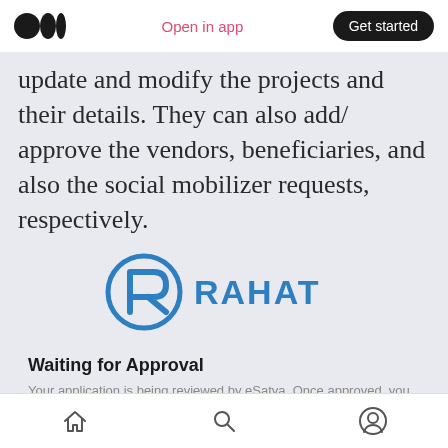Open in app | Get started
update and modify the projects and their details. They can also add/ approve the vendors, beneficiaries, and also the social mobilizer requests, respectively.
[Figure (logo): RAHAT logo — a stylized R inside a circle with RAHAT text in blue]
Waiting for Approval
Your application is being reviewed by eSatya. Once approved, you will be able to use this system. Please check again later.
Home | Search | Profile